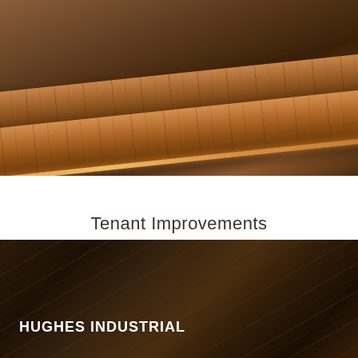[Figure (photo): Close-up photo of stacked wooden panels/slabs with warm amber/orange tones, showing wood grain texture and layered edges]
Tenant Improvements
Take a visual tour of the Hercules Campus today!
LEARN MORE
[Figure (photo): Dark brown textured wood grain photo used as footer background]
HUGHES INDUSTRIAL